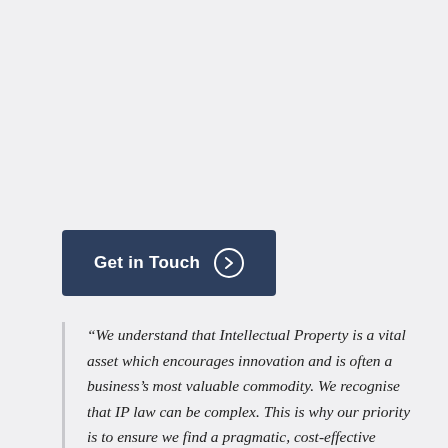Get in Touch
“We understand that Intellectual Property is a vital asset which encourages innovation and is often a business’s most valuable commodity. We recognise that IP law can be complex. This is why our priority is to ensure we find a pragmatic, cost-effective solution to any dispute.”